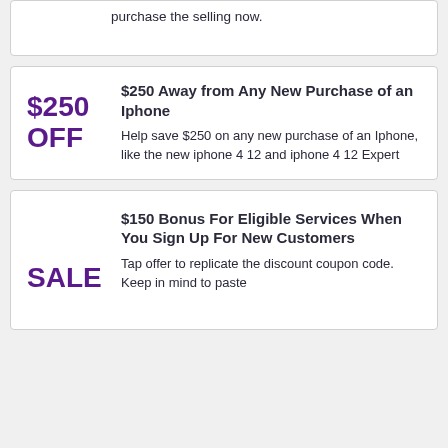purchase the selling now.
$250 Away from Any New Purchase of an Iphone
Help save $250 on any new purchase of an Iphone, like the new iphone 4 12 and iphone 4 12 Expert
$150 Bonus For Eligible Services When You Sign Up For New Customers
Tap offer to replicate the discount coupon code. Keep in mind to paste